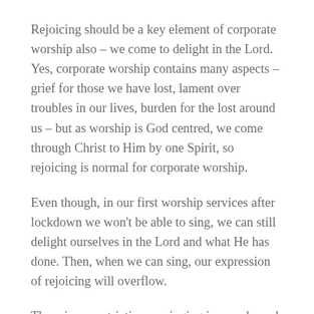Rejoicing should be a key element of corporate worship also – we come to delight in the Lord. Yes, corporate worship contains many aspects – grief for those we have lost, lament over troubles in our lives, burden for the lost around us – but as worship is God centred, we come through Christ to Him by one Spirit, so rejoicing is normal for corporate worship.
Even though, in our first worship services after lockdown we won't be able to sing, we can still delight ourselves in the Lord and what He has done. Then, when we can sing, our expression of rejoicing will overflow.
There is no restriction on singing in your home! So, as you read His word, you can express that rejoicing in Him.
v17: Prayer without ceasing – this is not 24/7 prayer, but